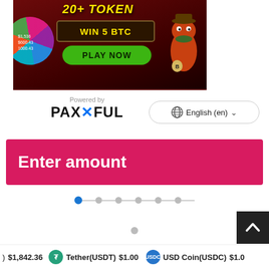[Figure (illustration): Cryptocurrency gambling advertisement banner with dark red background, spin wheel on left, '20+ TOKEN' in yellow text, 'WIN 5 BTC' in a decorative box, 'PLAY NOW' green button, and cartoon crocodile character on right]
[Figure (logo): Powered by PAXFUL logo — gray 'Powered by' text above bold PAXFUL wordmark with blue X]
English (en)
Enter amount
[Figure (infographic): Step progress indicator with 6 dots connected by lines; first dot is blue (active), rest are gray]
[Figure (other): Single gray dot below step indicator]
) $1,842.36   Tether(USDT) $1.00   USD Coin(USDC) $1.00